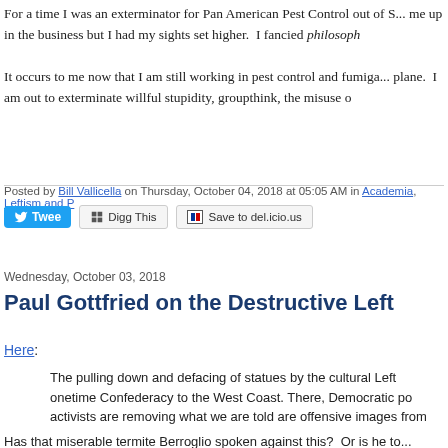For a time I was an exterminator for Pan American Pest Control out of S... me up in the business but I had my sights set higher. I fancied philosoph...
It occurs to me now that I am still working in pest control and fumiga... plane. I am out to exterminate willful stupidity, groupthink, the misuse o...
Posted by Bill Vallicella on Thursday, October 04, 2018 at 05:05 AM in Academia, Leftism and P...
Wednesday, October 03, 2018
Paul Gottfried on the Destructive Left
Here:
The pulling down and defacing of statues by the cultural Left... onetime Confederacy to the West Coast. There, Democratic po... activists are removing what we are told are offensive images from...
This iconoclastic fury has spread from removing statues of Colum... to dismantling memorials and plaques put up to honor Spanish... settlers is justified by citing their use of native Indian labor as v... they forcibly converted the native inhabitants to Catholicism.
The missionaries who are now being dishonored created much of... minorities, including their language and majority religion. Latin... they are also descended from Spaniards and took on much of a rec...
Has that miserable termite Berroglio spoken against this? Or is he to...